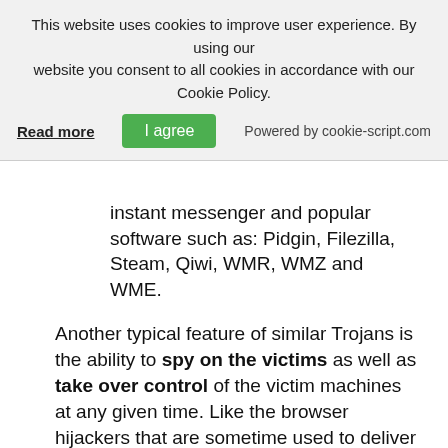This website uses cookies to improve user experience. By using our website you consent to all cookies in accordance with our Cookie Policy.
Read more | I agree | Powered by cookie-script.com
instant messenger and popular software such as: Pidgin, Filezilla, Steam, Qiwi, WMR, WMZ and WME.
Another typical feature of similar Trojans is the ability to spy on the victims as well as take over control of the victim machines at any given time. Like the browser hijackers that are sometime used to deliver malware it can also extract data from the installed web browsers. This applies to all cookies, bookmarks, history, preferences, passwords, form data and account credentials.
The virus is being offered in hacker underground markets for the price of about $27. It is very similar to other threats of the same kind as it allows the